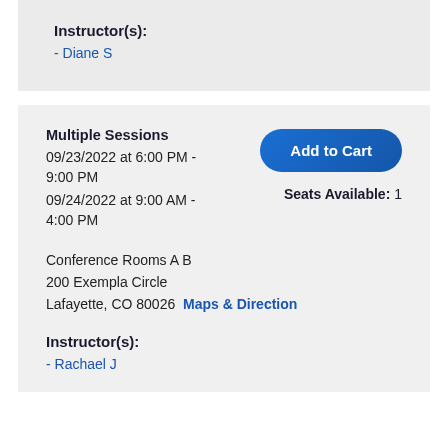Instructor(s):
- Diane S
Multiple Sessions
09/23/2022 at 6:00 PM - 9:00 PM
09/24/2022 at 9:00 AM - 4:00 PM
Add to Cart
Seats Available: 1
Conference Rooms A B
200 Exempla Circle
Lafayette, CO 80026
Maps & Direction
Instructor(s):
- Rachael J